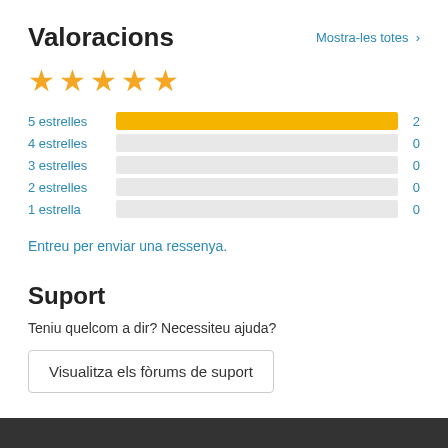Valoracions
Mostra-les totes >
[Figure (other): Five gold stars rating display]
[Figure (bar-chart): Rating distribution]
Entreu per enviar una ressenya.
Suport
Teniu quelcom a dir? Necessiteu ajuda?
Visualitza els fòrums de suport